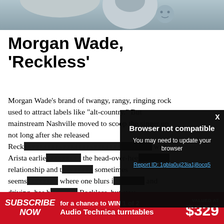[Figure (photo): Top portion of a photo showing a person, partially cropped]
Morgan Wade, 'Reckless'
Morgan Wade’s brand of twangy, rangy, ringing rock used to attract labels like “alt-country.” But mainstream Nashville moved to scoop the singer up not long after she released Reck[...] with Arista earlie[...] the head-over-hee[...] relationship and t[...] sometimes seems[...] where one blurs i[...] and driving, has b[...] Reckless, but stay[...]
[Figure (screenshot): Browser not compatible modal overlay with dark background. Title: 'Browser not compatible'. Subtitle: 'You may need to update your browser'. Link: 'Report ID: 1gbla0uj23ia1j8ocq5']
SUBSCRIBE NOW for a chance to WIN 1 of 2 Audio Technica turntables VALUED AT $329